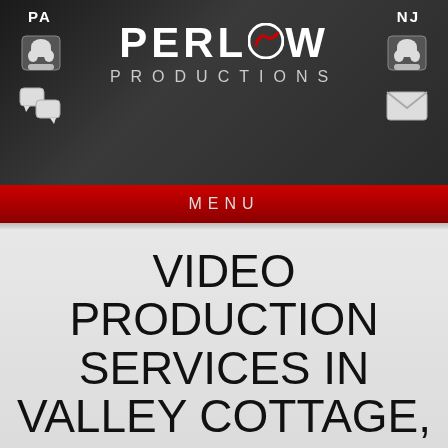[Figure (logo): Perlow Productions logo with PERLOW in bold white letters, stylized O with red swoosh, and PRODUCTIONS in smaller gray spaced letters below. PA and NJ state labels with phone, chat, and email icons on left and right sides against dark textured background.]
MENU
VIDEO PRODUCTION SERVICES IN VALLEY COTTAGE, NY
As a full-service video production company, Perlow Productions offers videography, video editing and animation design among our list of video production services. Our capabilities include aerial videography, 3D and motion graphics, multi-camera shoots, and live webcast services.